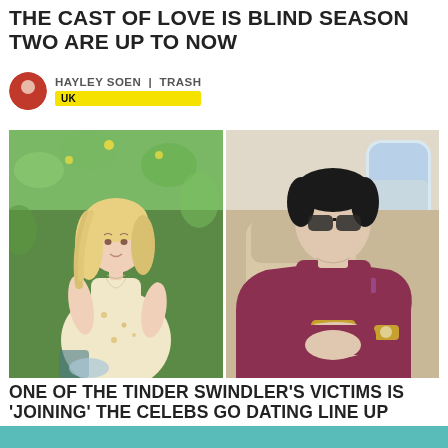THE CAST OF LOVE IS BLIND SEASON TWO ARE UP TO NOW
HAYLEY SOEN | TRASH
UK
[Figure (photo): Two side-by-side photos: left shows a blonde woman in a floral dress sitting outdoors with green foliage behind her; right shows a man in a maroon blazer and blue shirt sitting in a private jet holding a phone and wearing sunglasses and a gold watch.]
ONE OF THE TINDER SWINDLER'S VICTIMS IS 'JOINING' THE CELEBS GO DATING LINE UP
LYDIA VENN | TRASH
UK